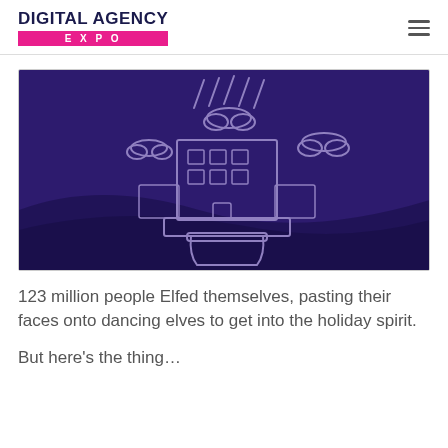DIGITAL AGENCY EXPO
[Figure (illustration): Dark purple illustrated image showing a building/office structure with clouds and rain lines on a deep purple gradient background with wave shapes at the bottom.]
123 million people Elfed themselves, pasting their faces onto dancing elves to get into the holiday spirit.
But here’s the thing…